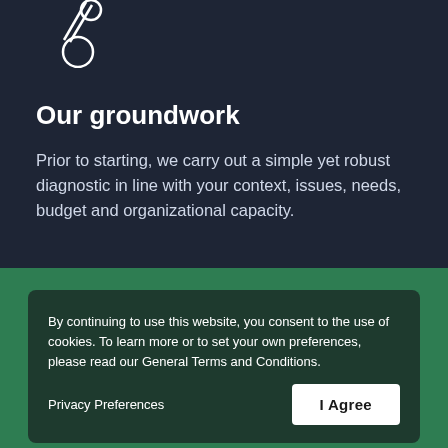[Figure (illustration): White line icon showing overlapping circles (search/magnify style) in top-left of dark section]
Our groundwork
Prior to starting, we carry out a simple yet robust diagnostic in line with your context, issues, needs, budget and organizational capacity.
By continuing to use this website, you consent to the use of cookies. To learn more or to set your own preferences, please read our General Terms and Conditions.
Privacy Preferences
I Agree
Our target
Guide leaders to gain insight into their role and the key strategies to implement for providing a focused...